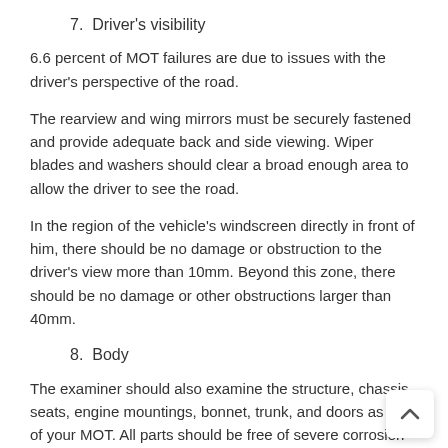7.  Driver's visibility
6.6 percent of MOT failures are due to issues with the driver's perspective of the road.
The rearview and wing mirrors must be securely fastened and provide adequate back and side viewing. Wiper blades and washers should clear a broad enough area to allow the driver to see the road.
In the region of the vehicle's windscreen directly in front of him, there should be no damage or obstruction to the driver's view more than 10mm. Beyond this zone, there should be no damage or other obstructions larger than 40mm.
8.  Body
The examiner should also examine the structure, chassis, seats, engine mountings, bonnet, trunk, and doors as part of your MOT. All parts should be free of severe corrosion